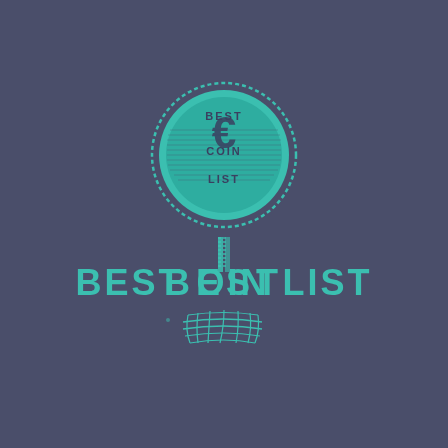[Figure (logo): Best Coin List circular logo badge in teal/turquoise color on dark blue-grey background. The circular badge has a dotted/dashed border ring, contains a stylized coin/dollar sign in the center with 'BEST' text at top, 'COIN' in the middle, and 'LIST' at the bottom. Below the badge is a stylized lowercase letter 'c' or coin symbol constructed from geometric teal elements, with 'BEST COIN LIST' text in large teal bold letters arranged horizontally.]